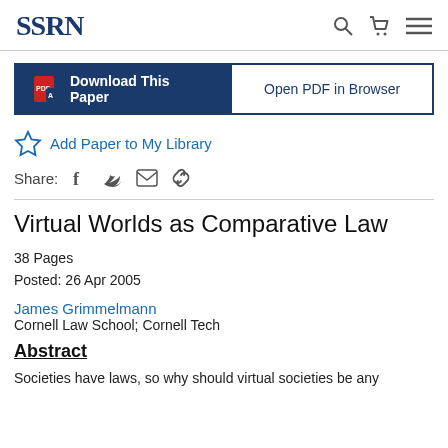SSRN
Download This Paper | Open PDF in Browser
Add Paper to My Library
Share: [facebook] [twitter] [email] [link]
Virtual Worlds as Comparative Law
38 Pages
Posted: 26 Apr 2005
James Grimmelmann
Cornell Law School; Cornell Tech
Abstract
Societies have laws, so why should virtual societies be any